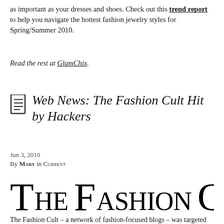as important as your dresses and shoes. Check out this trend report to help you navigate the hottest fashion jewelry styles for Spring/Summer 2010.
Read the rest at GlamChix.
Web News: The Fashion Cult Hit by Hackers
Jun 3, 2010
By Mary in Current
[Figure (logo): The Fashion Cult logo in large decorative text with an asterisk]
The Fashion Cult – a network of fashion-focused blogs – was targeted by an unknown group of Website hackers that have been attacking high-